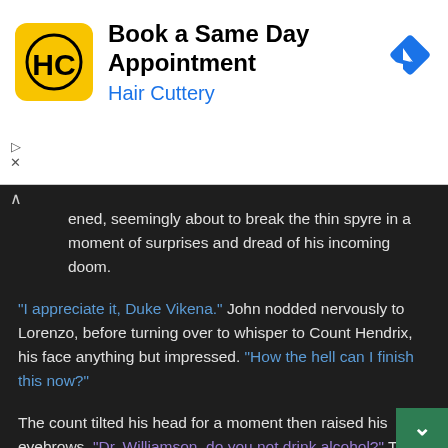[Figure (logo): Hair Cuttery advertisement banner with yellow HC logo, text 'Book a Same Day Appointment' and 'Hair Cuttery' in blue, and a blue navigation arrow icon on the right]
ened, seemingly about to break the thin spyre in a moment of surprises and dread of his incoming doom.
"I appreciate it, Duke Vikena." John nodded nervously to Lorenzo, before turning over to whisper to Count Hendrix, his face anything but impressed. "How the hell can I finish this now?"
The count tilted his head for a moment then raised his eyebrows, "Dr. Williamson, do you not drink alcohol?" To which John replied. "Not that I can't, but I can't say I enjoy them." Not just from not liking them in general, but from more...deep-seated disdain for what it could do.
Black eyes studied the doctor, analyzing his face and his fingers that were changing colors from the tight grip. Finally, Hendrix relieved the glass from his hands. "I don't think you should be...